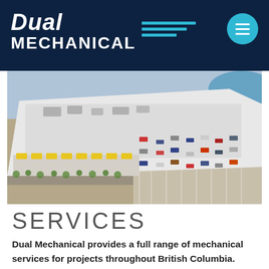Dual MECHANICAL
[Figure (photo): Aerial view of a large industrial/commercial building with white roof, loading docks with yellow canopies, and a parking lot with cars. A body of water is visible in the upper right corner.]
SERVICES
Dual Mechanical provides a full range of mechanical services for projects throughout British Columbia.  Experienced in all realms of bid spec, design build, and design assist - whether your company needs expert assistance with construction, renovation, or